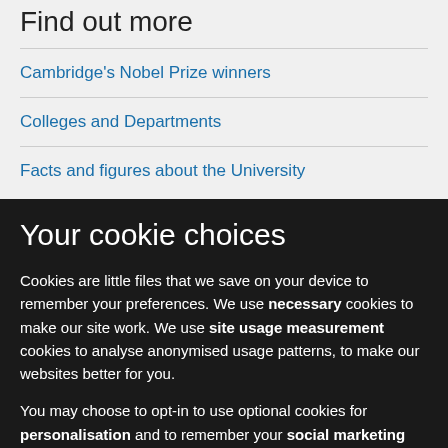Find out more
Cambridge's Nobel Prize winners
Colleges and Departments
Facts and figures about the University
Your cookie choices
Cookies are little files that we save on your device to remember your preferences. We use necessary cookies to make our site work. We use site usage measurement cookies to analyse anonymised usage patterns, to make our websites better for you.
You may choose to opt-in to use optional cookies for personalisation and to remember your social marketing preferences.